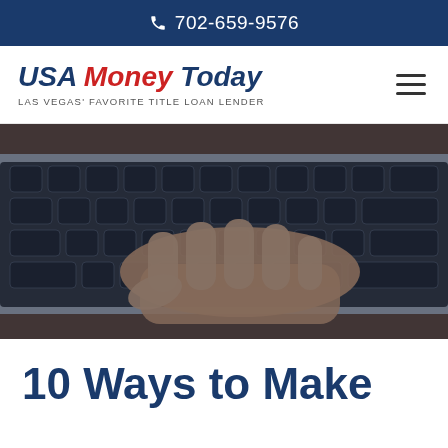702-659-9576
[Figure (logo): USA Money Today logo with tagline LAS VEGAS' FAVORITE TITLE LOAN LENDER]
[Figure (photo): Close-up photo of a person's hand typing on a laptop keyboard, darkened overlay]
10 Ways to Make